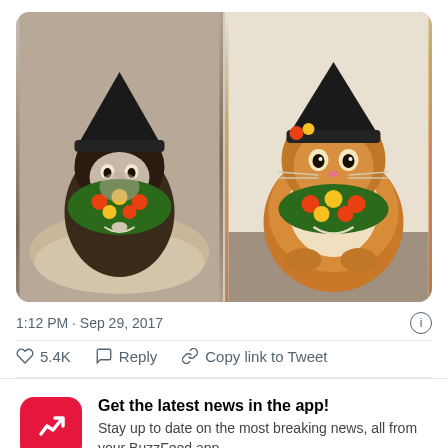[Figure (photo): Two cats wearing Halloween witch hats and floral scarves/bandanas. Left cat is dark/Siamese sitting in a round cardboard scratcher. Right cat is a fluffy orange/brown cat sitting on a surface.]
1:12 PM · Sep 29, 2017
5.4K   Reply   Copy link to Tweet
Get the latest news in the app! Stay up to date on the most breaking news, all from your BuzzFeed app.
Maybe later
Get the app